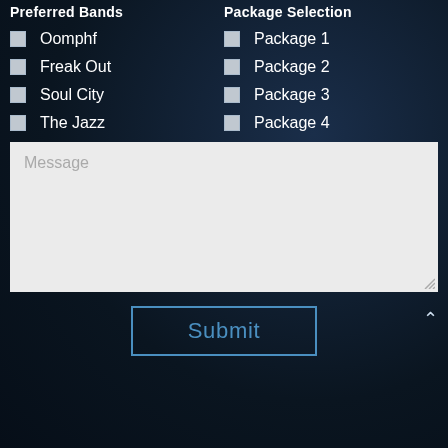Preferred Bands
Package Selection
Oomphf
Freak Out
Soul City
The Jazz
Package 1
Package 2
Package 3
Package 4
Message
Submit